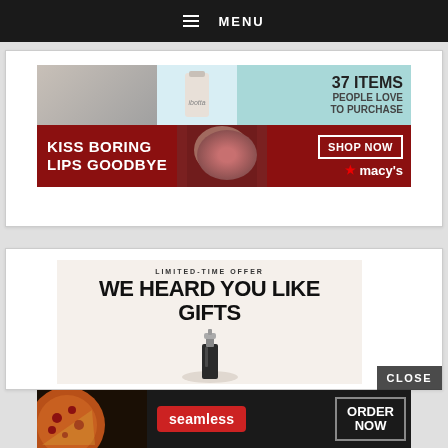MENU
[Figure (screenshot): Macy's advertisement banner: top section shows '37 ITEMS PEOPLE LOVE TO PURCHASE' on teal background with ibotta product image; bottom dark red section shows 'KISS BORING LIPS GOODBYE' with model, 'SHOP NOW' button and Macy's star logo]
[Figure (screenshot): Beauty gift promotion ad on beige background reading 'LIMITED-TIME OFFER' and 'WE HEARD YOU LIKE GIFTS' with a serum/cosmetic bottle product image and 'CLOSE' button]
[Figure (screenshot): Seamless food delivery banner ad with pizza image, Seamless red logo, and 'ORDER NOW' button on dark background]